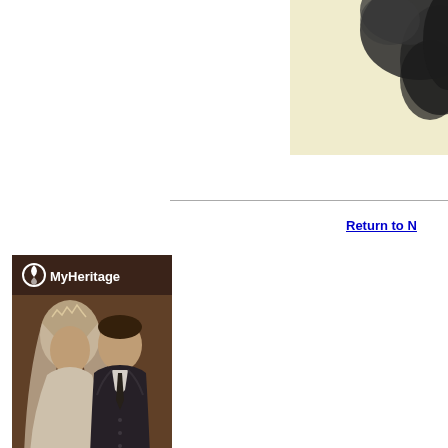[Figure (photo): Vintage sepia-toned photograph in top-right corner showing a light yellowish background with dark foliage/tree elements visible at the edge]
[Figure (photo): MyHeritage advertisement showing a sepia wedding portrait of a bride and groom from approximately the 1940s. The bride wears a veil and tiara and holds a bouquet of flowers. The groom is in a dark suit. The MyHeritage logo with leaf icon appears at the top in white.]
Return to N
Start Your